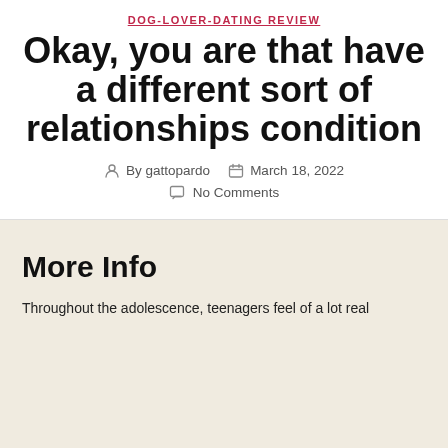DOG-LOVER-DATING REVIEW
Okay, you are that have a different sort of relationships condition
By gattopardo   March 18, 2022
No Comments
More Info
Throughout the adolescence, teenagers feel of a lot real